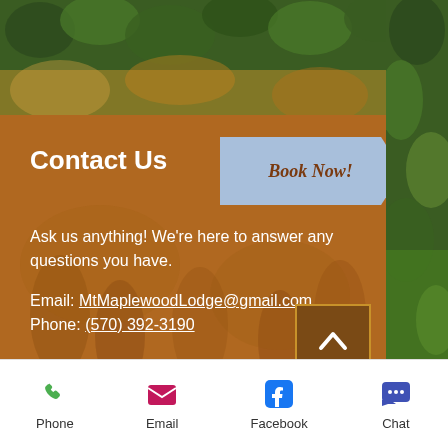[Figure (photo): Aerial view of forest with green and autumn-colored trees, brown earthy tones visible]
Contact Us
[Figure (other): Blue arrow-shaped 'Book Now!' button]
Ask us anything! We're here to answer any questions you have.
Email: MtMaplewoodLodge@gmail.com
Phone: (570) 392-3190
Phone   Email   Facebook   Chat